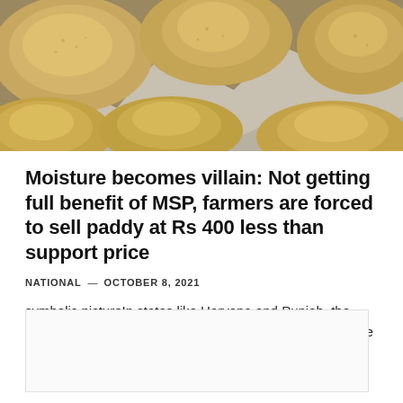[Figure (photo): Aerial or close-up photo of golden-brown paddy/grain mounds spread out on a grey concrete or stone surface with irregular paths between the piles.]
Moisture becomes villain: Not getting full benefit of MSP, farmers are forced to sell paddy at Rs 400 less than support price
NATIONAL — OCTOBER 8, 2021
symbolic pictureIn states like Haryana and Punjab, the procurement of Kharif crops at the Minimum Support Price (MSP) is in...